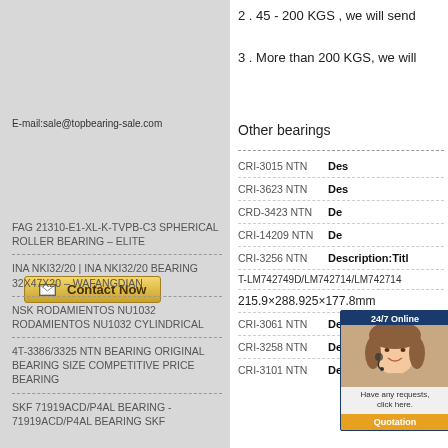2 . 45 - 200 KGS , we will send
3 . More than 200 KGS, we will
E-mail:sale@topbearing-sale.com
Contact Now
FAG 21310-E1-XL-K-TVPB-C3 SPHERICAL ROLLER BEARING – ELITE
INA NKI32/20 | INA NKI32/20 BEARING 32X47X20 – WAFANGDIAN
NSK RODAMIENTOS NU1032 RODAMIENTOS NU1032 CYLINDRICAL
4T-3386/3325 NTN BEARING ORIGINAL BEARING SIZE COMPETITIVE PRICE BEARING
SKF 71919ACD/P4AL BEARING - 71919ACD/P4AL BEARING SKF
Other bearings
| ID | Description |
| --- | --- |
| CRI-3015 NTN | Des... |
| CRI-3623 NTN | Des... |
| CRD-3423 NTN | De... |
| CRI-14209 NTN | De... |
| CRI-3256 NTN | Description:Titl |
| T-LM742749D/LM742714/LM742714 |  |
| 215.9×288.925×177.8mm |  |
| CRI-3061 NTN | Description:Titl |
| CRI-3258 NTN | Description:Titl |
| CRI-3101 NTN | Description:Titl |
[Figure (photo): 24/7 online chat agent with quotation button overlay]